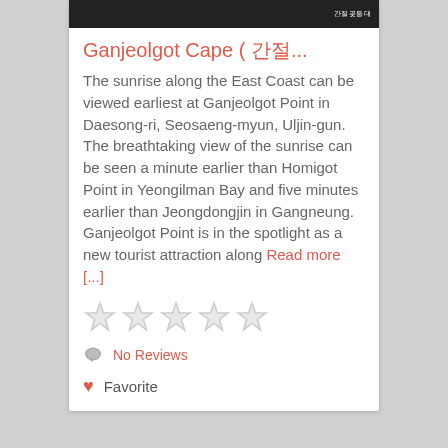[Figure (photo): Dark/black photo at top of card with small Korean text watermark on right side]
Ganjeolgot Cape ( 간...
The sunrise along the East Coast can be viewed earliest at Ganjeolgot Point in Daesong-ri, Seosaeng-myun, Uljin-gun. The breathtaking view of the sunrise can be seen a minute earlier than Homigot Point in Yeongilman Bay and five minutes earlier than Jeongdongjin in Gangneung. Ganjeolgot Point is in the spotlight as a new tourist attraction along Read more [...]
[Figure (other): Five empty/outline star rating icons]
No Reviews
Favorite